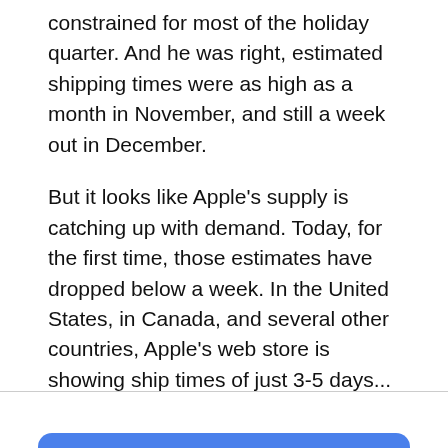constrained for most of the holiday quarter. And he was right, estimated shipping times were as high as a month in November, and still a week out in December.
But it looks like Apple's supply is catching up with demand. Today, for the first time, those estimates have dropped below a week. In the United States, in Canada, and several other countries, Apple's web store is showing ship times of just 3-5 days...
Read More